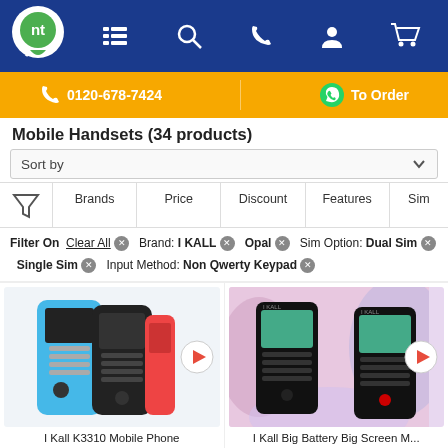[Figure (screenshot): E-commerce website header navigation bar with nt logo and icons for menu, search, phone, user, cart on dark blue background]
[Figure (infographic): Orange call-to-action banner with phone number 0120-678-7424 and WhatsApp To Order button]
Mobile Handsets (34 products)
Sort by
Filter On  Clear All  Brand: I KALL  Opal  Sim Option: Dual Sim  Single Sim  Input Method: Non Qwerty Keypad
[Figure (photo): I Kall K3310 Mobile Phone - blue and black handsets with red phone]
[Figure (photo): I Kall Big Battery Big Screen Mobile - two handsets on colorful background]
I Kall K3310 Mobile Phone
I Kall Big Battery Big Screen M...